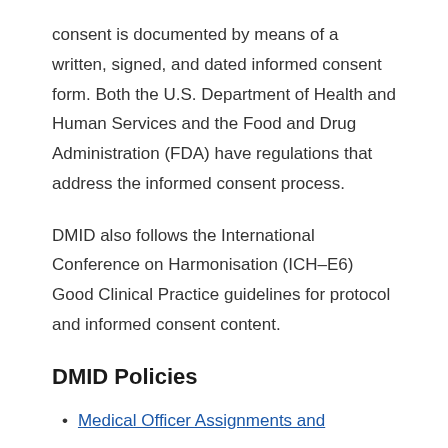consent is documented by means of a written, signed, and dated informed consent form. Both the U.S. Department of Health and Human Services and the Food and Drug Administration (FDA) have regulations that address the informed consent process.
DMID also follows the International Conference on Harmonisation (ICH–E6) Good Clinical Practice guidelines for protocol and informed consent content.
DMID Policies
Medical Officer Assignments and